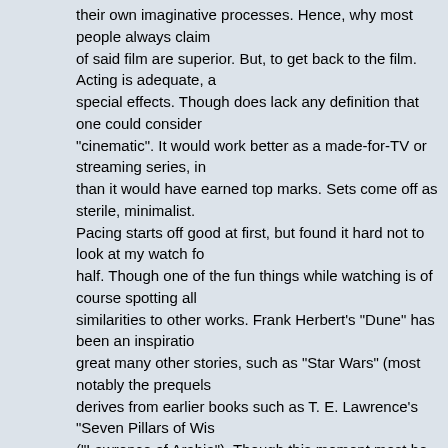their own imaginative processes. Hence, why most people always claim of said film are superior. But, to get back to the film. Acting is adequate, a special effects. Though does lack any definition that one could consider "cinematic". It would work better as a made-for-TV or streaming series, in than it would have earned top marks. Sets come off as sterile, minimalist. Pacing starts off good at first, but found it hard not to look at my watch fo half. Though one of the fun things while watching is of course spotting all similarities to other works. Frank Herbert's "Dune" has been an inspiratio great many other stories, such as "Star Wars" (most notably the prequels derives from earlier books such as T. E. Lawrence's "Seven Pillars of Wis ("Lawrence of Arabia"). Though this moment most be taken to point out th introduction the 'Baron Harkonnen' and indeed most of his screen time is nothing more than a Marlon Brando rip-off of 'Colonel Walter E. Kurtz' of "Apocalypse Now". Part of me wants to like that and the other despises it However, without turning this into a rant, I'll leave thou with a link to a fun long ago with interesting comparisons.
http://www.moongadget.com/origins/dune.html
Main Player:Oppo UDP-203 Regional Player:LG BH200 TV:P75QX-H1
Re: In Theatres
by Noor_Razzak » 01 Nov 2021 19:43
007: No Time To Die - Not a bad way to end Daniel Craig's tenure as Bon